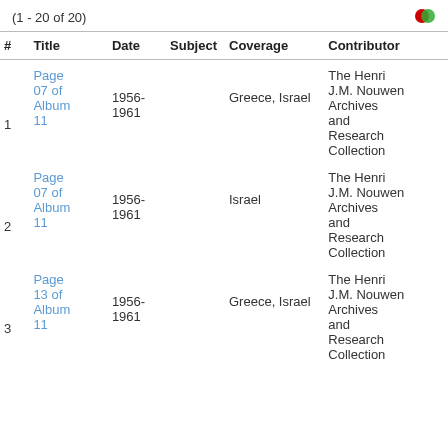(1 - 20 of 20)
| # | Title | Date | Subject | Coverage | Contributor |
| --- | --- | --- | --- | --- | --- |
| 1 | Page 06 of Album 11 | 1956-1961 |  | Greece, Israel | The Henri J.M. Nouwen Archives and Research Collection |
| 2 | Page 07 of Album 11 | 1956-1961 |  | Israel | The Henri J.M. Nouwen Archives and Research Collection |
| 3 | Page 13 of Album 11 | 1956-1961 |  | Greece, Israel | The Henri J.M. Nouwen Archives and Research Collection |